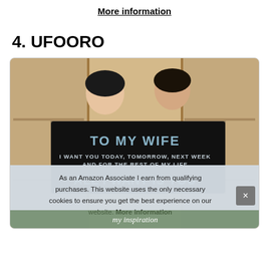More information
4. UFOORO
[Figure (photo): Two women holding a black blanket/flag that reads 'TO MY WIFE I WANT YOU TODAY, TOMORROW, NEXT WEEK AND FOR THE REST OF MY LIFE ALL I WANT IS YOU' in front of wooden shelving units]
As an Amazon Associate I earn from qualifying purchases. This website uses the only necessary cookies to ensure you get the best experience on our website. More information